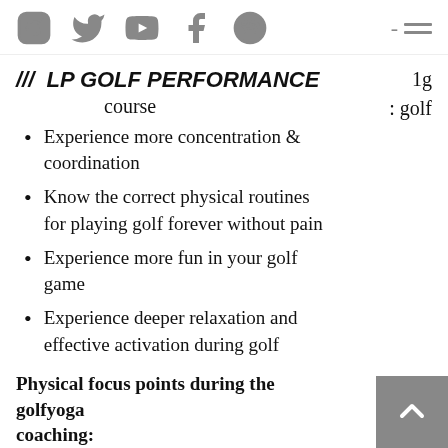Social media icons: Instagram, Twitter, YouTube, Facebook, Spotify; hamburger menu
/// LP GOLF PERFORMANCE
ig : golf course
Experience more concentration & coordination
Know the correct physical routines for playing golf forever without pain
Experience more fun in your golf game
Experience deeper relaxation and effective activation during golf
Physical focus points during the golfyoga coaching: